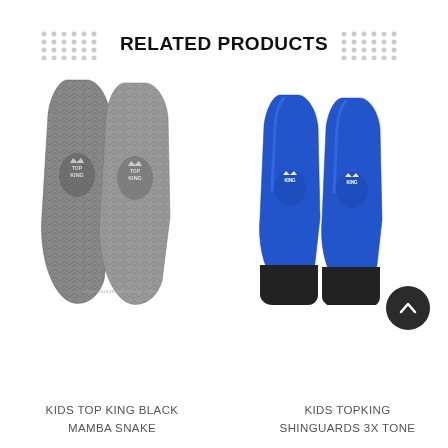RELATED PRODUCTS
[Figure (photo): Two gray/silver snake-skin patterned kids Top King shinguards side by side, with 'TOP KING' logo on each, on white background. Watermark: www.muaythaithailand.com]
[Figure (photo): Two blue kids Top King shinguards side by side with black foot section, 'KING' logo on each, on white background]
KIDS TOP KING BLACK
MAMBA SNAKE
KIDS TOPKING
SHINGUARDS 3X TONE